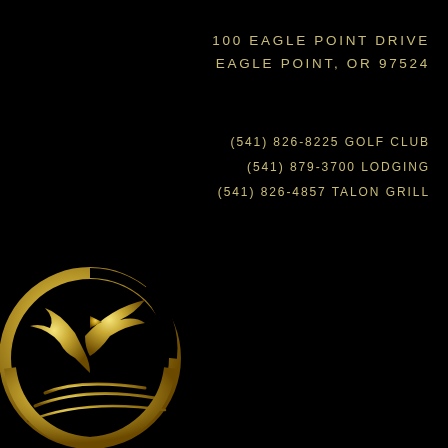100 EAGLE POINT DRIVE
EAGLE POINT, OR 97524
(541) 826-8225 GOLF CLUB
(541) 879-3700 LODGING
(541) 826-4857 TALON GRILL
[Figure (logo): Gold circular logo with eagle and golf flag silhouette, fairway lines below]